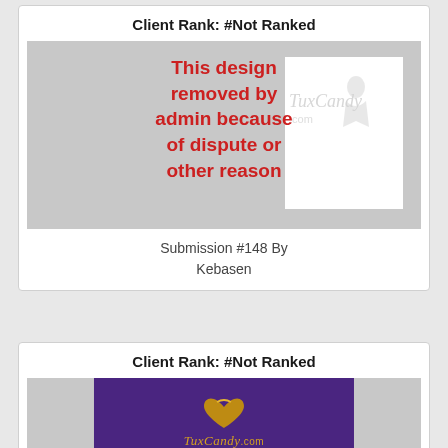Client Rank: #Not Ranked
[Figure (illustration): Design submission image removed by admin, showing 'This design removed by admin because of dispute or other reason' in red text over a grey background with a TuxCandy.com watermark and a white box overlay.]
Submission #148 By Kebasen
Client Rank: #Not Ranked
[Figure (logo): TuxCandy.com logo on a purple background — golden heart/bow shape above italic 'TuxCandy.com' text in gold.]